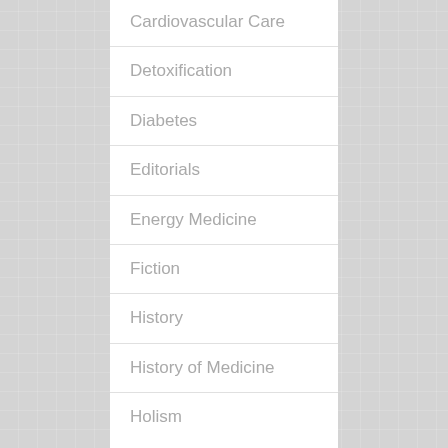Cardiovascular Care
Detoxification
Diabetes
Editorials
Energy Medicine
Fiction
History
History of Medicine
Holism